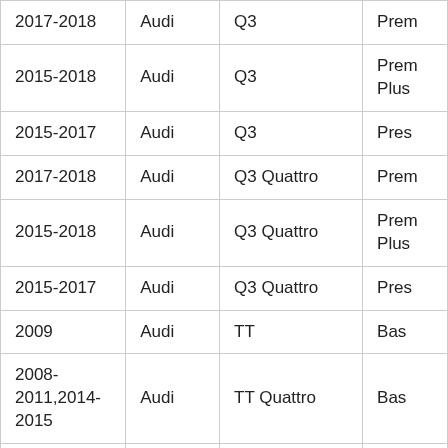| Year | Make | Model | Trim |
| --- | --- | --- | --- |
| 2017-2018 | Audi | Q3 | Prem |
| 2015-2018 | Audi | Q3 | Prem Plus |
| 2015-2017 | Audi | Q3 | Pres |
| 2017-2018 | Audi | Q3 Quattro | Prem |
| 2015-2018 | Audi | Q3 Quattro | Prem Plus |
| 2015-2017 | Audi | Q3 Quattro | Pres |
| 2009 | Audi | TT | Bas |
| 2008-2011,2014-2015 | Audi | TT Quattro | Bas |
| 2012-2013 | Audi | TT Quattro | Prem Plus |
| 2012-2013 | Audi | TT Quattro | P... |